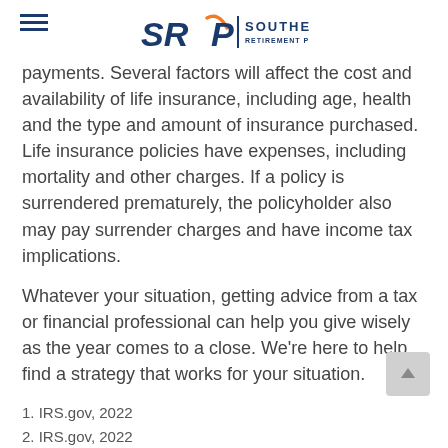Southeast Retirement Planners Inc.
payments. Several factors will affect the cost and availability of life insurance, including age, health and the type and amount of insurance purchased. Life insurance policies have expenses, including mortality and other charges. If a policy is surrendered prematurely, the policyholder also may pay surrender charges and have income tax implications.
Whatever your situation, getting advice from a tax or financial professional can help you give wisely as the year comes to a close. We’re here to help find a strategy that works for your situation.
1. IRS.gov, 2022
2. IRS.gov, 2022